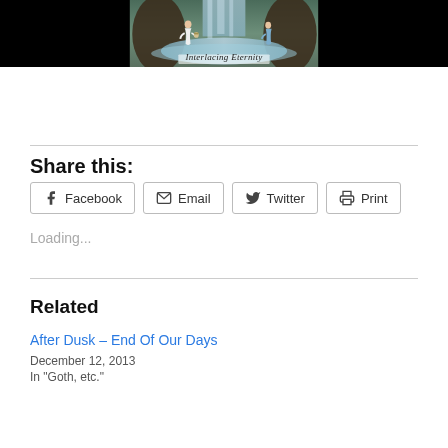[Figure (illustration): Painted illustration showing two figures near a waterfall and stream, with text 'Interlacing Eternity' overlaid at the bottom center. Background is black on sides.]
Share this:
Facebook  Email  Twitter  Print
Loading...
Related
After Dusk – End Of Our Days
December 12, 2013
In "Goth, etc."